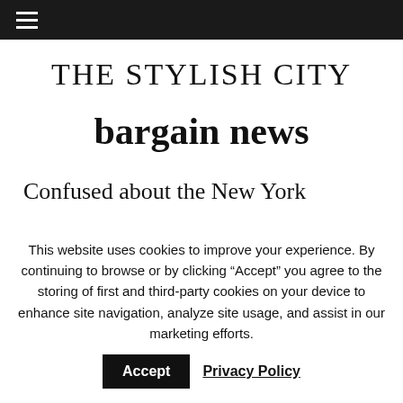≡
THE STYLISH CITY
bargain news
Confused about the New York
This website uses cookies to improve your experience. By continuing to browse or by clicking “Accept” you agree to the storing of first and third-party cookies on your device to enhance site navigation, analyze site usage, and assist in our marketing efforts.
Accept
Privacy Policy